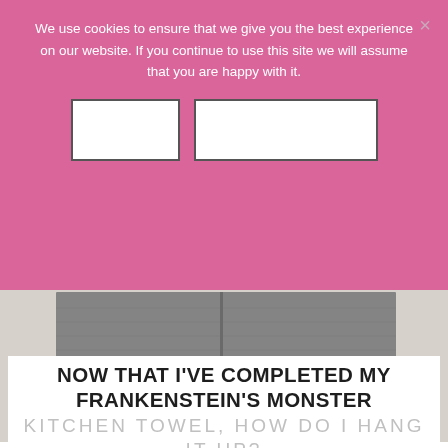We use cookies to ensure that we give you the best experience on our website. If you continue to use this site we will assume that you are happy with it.
[Figure (photo): Close-up photo of a crochet kitchen towel with gray body, yellow zigzag pattern, and black border at the bottom. Watermark reads ACrochetedsimplicity.com]
NOW THAT I'VE COMPLETED MY FRANKENSTEIN'S MONSTER KITCHEN TOWEL, HOW DO I HANG IT UP?